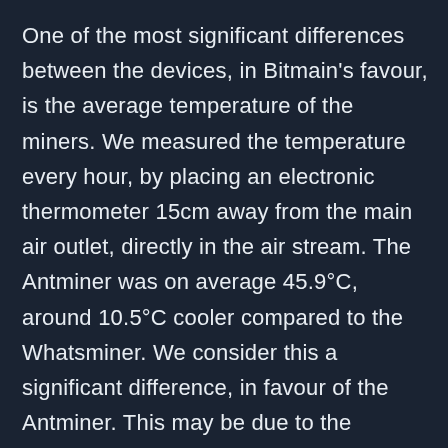One of the most significant differences between the devices, in Bitmain's favour, is the average temperature of the miners. We measured the temperature every hour, by placing an electronic thermometer 15cm away from the main air outlet, directly in the air stream. The Antminer was on average 45.9°C, around 10.5°C cooler compared to the Whatsminer. We consider this a significant difference, in favour of the Antminer. This may be due to the Antminer's lower power consumption or superior cooling in the Antminer, which has more fans and generates a higher air flow speed. In addition to the Whatsminer air flow temperature being considerably warmer than the Antminer, the